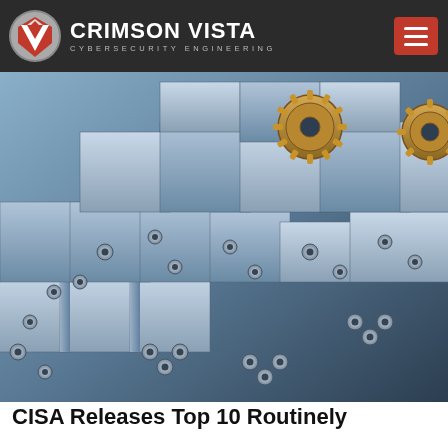CRIMSON VISTA CYBERSECURITY ENGINEERING
[Figure (photo): Abstract 3D render of stacked gray metallic cube-like blocks with circular gear/bolt connectors and bronze ring gears on top, viewed from an angle, in blue-gray tones — a cybersecurity themed hero image.]
CISA Releases Top 10 Routinely